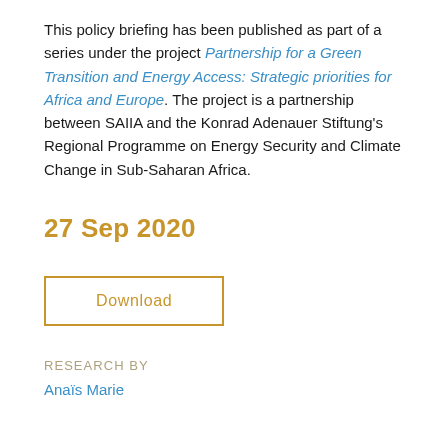This policy briefing has been published as part of a series under the project Partnership for a Green Transition and Energy Access: Strategic priorities for Africa and Europe. The project is a partnership between SAIIA and the Konrad Adenauer Stiftung's Regional Programme on Energy Security and Climate Change in Sub-Saharan Africa.
27 Sep 2020
Download
RESEARCH BY
Anaïs Marie